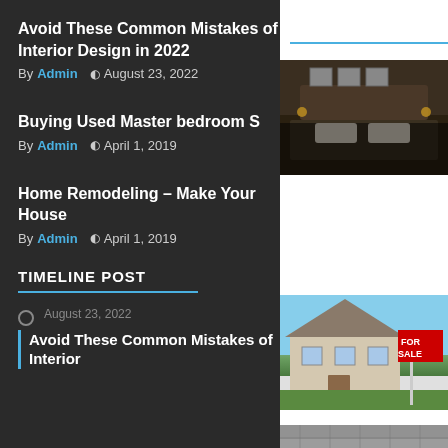Avoid These Common Mistakes of Interior Design in 2022
By Admin  © August 23, 2022
Buying Used Master bedroom S
By Admin  © April 1, 2019
[Figure (photo): Bedroom interior with dark headboard and wall art]
Home Remodeling – Make Your House
By Admin  © April 1, 2019
[Figure (photo): House with For Sale sign in front yard]
TIMELINE POST
[Figure (photo): Roof shingles close-up]
August 23, 2022
Avoid These Common Mistakes of Interior